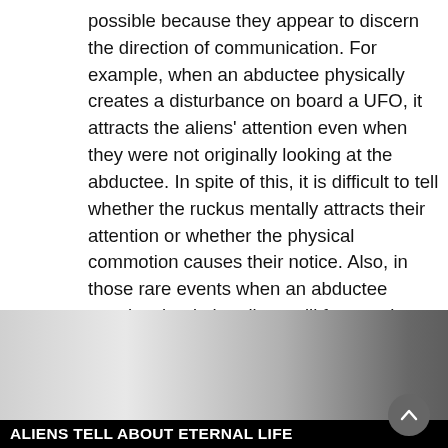possible because they appear to discern the direction of communication. For example, when an abductee physically creates a disturbance on board a UFO, it attracts the aliens' attention even when they were not originally looking at the abductee. In spite of this, it is difficult to tell whether the ruckus mentally attracts their attention or whether the physical commotion causes their notice. Also, in those rare events when an abductee speaks aloud, the aliens will frequently turn and face the one who is communicating. All of this, of course, might well be consistent with telepathy, and whether the aliens have any sense of hearing remains a mystery.
Although telepathy is the main method of communication,
[Figure (photo): Black and white image of a blonde woman on the left with a smoky/mystical figure on the right. A dark title bar at the bottom reads 'ALIENS TELL ABOUT ETERNAL LIFE'.]
e a written culture as ctees will ding material – epresentations of ymbols" on the